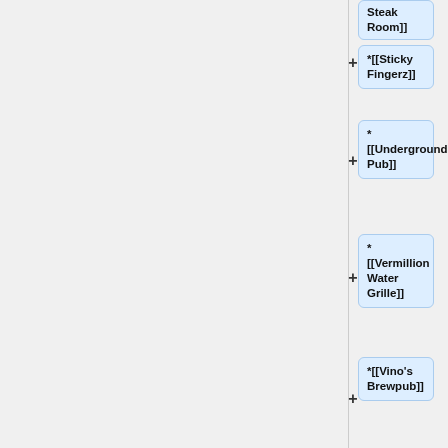Steak Room]]
*[[Sticky Fingerz]]
*[[Underground Pub]]
*[[Vermillion Water Grille]]
*[[Vino's Brewpub]]
The River Market District also contains a number of nightclubs, including [[Ernie Bigg's]], Rumba's [[Revolution Room]], and [[Willy D's]]. A large number of historic lofts and new condominium